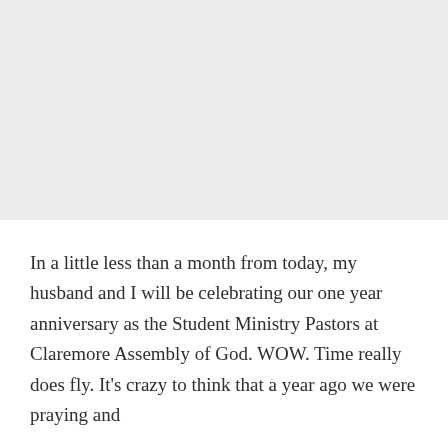[Figure (other): Gray background area occupying the top portion of the page]
In a little less than a month from today, my husband and I will be celebrating our one year anniversary as the Student Ministry Pastors at Claremore Assembly of God. WOW. Time really does fly. It’s crazy to think that a year ago we were praying and